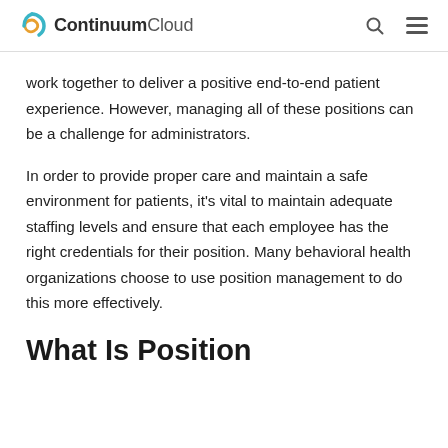ContinuumCloud
work together to deliver a positive end-to-end patient experience. However, managing all of these positions can be a challenge for administrators.
In order to provide proper care and maintain a safe environment for patients, it’s vital to maintain adequate staffing levels and ensure that each employee has the right credentials for their position. Many behavioral health organizations choose to use position management to do this more effectively.
What Is Position